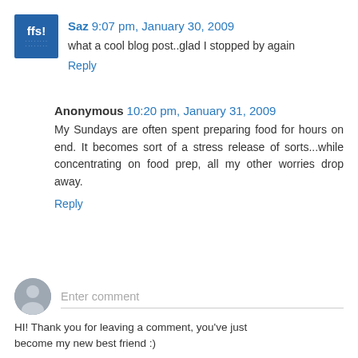[Figure (logo): Blue square avatar with 'ffs!' text for user Saz]
Saz 9:07 pm, January 30, 2009
what a cool blog post..glad I stopped by again
Reply
Anonymous 10:20 pm, January 31, 2009
My Sundays are often spent preparing food for hours on end. It becomes sort of a stress release of sorts...while concentrating on food prep, all my other worries drop away.
Reply
[Figure (illustration): Generic grey silhouette avatar icon for anonymous commenter]
Enter comment
HI! Thank you for leaving a comment, you've just become my new best friend :)